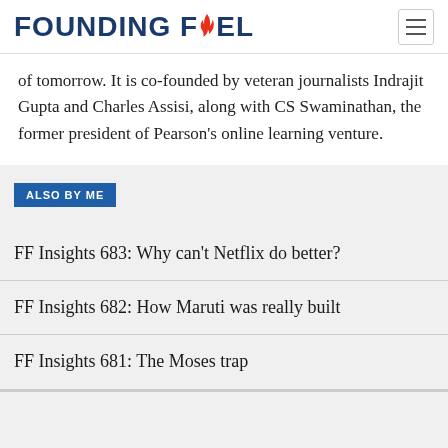FOUNDING FUEL
of tomorrow. It is co-founded by veteran journalists Indrajit Gupta and Charles Assisi, along with CS Swaminathan, the former president of Pearson's online learning venture.
ALSO BY ME
FF Insights 683: Why can't Netflix do better?
FF Insights 682: How Maruti was really built
FF Insights 681: The Moses trap